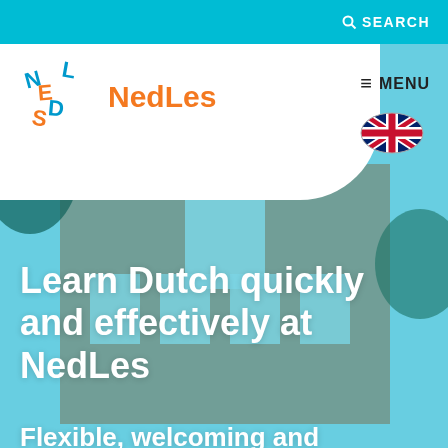SEARCH
[Figure (logo): NedLes logo with colorful letter tiles spelling NEDS/L in blue and orange, with orange text NedLes]
≡ MENU
[Figure (illustration): UK flag oval button for language selection]
[Figure (photo): Hero background photo of a Dutch brick building with stepped gable roof, trees, and blue-tinted overlay]
Learn Dutch quickly and effectively at NedLes
Flexible, welcoming and